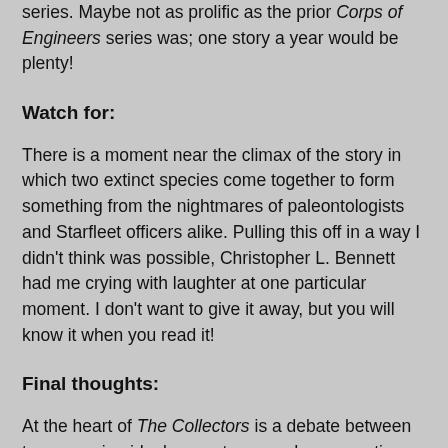series. Maybe not as prolific as the prior Corps of Engineers series was; one story a year would be plenty!
Watch for:
There is a moment near the climax of the story in which two extinct species come together to form something from the nightmares of paleontologists and Starfleet officers alike. Pulling this off in a way I didn't think was possible, Christopher L. Bennett had me crying with laughter at one particular moment. I don't want to give it away, but you will know it when you read it!
Final thoughts:
At the heart of The Collectors is a debate between two opposing ideals: constancy and conservatism versus fluidity and change for the sake of change. Which is better? It is interesting that the character of Lucsly, a man notorious for his desire to maintain the status quo including his unassailable belief in the one true unadulterated timeline, is the one to come to the conclusion that everything must